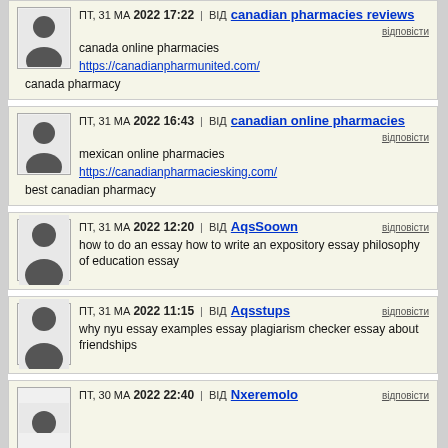ПТ, 31 МА 2022 17:22 | ВІД canadian pharmacies reviews
canada online pharmacies
https://canadianpharmunited.com/
canada pharmacy
ПТ, 31 МА 2022 16:43 | ВІД canadian online pharmacies
mexican online pharmacies
https://canadianpharmaciesking.com/
best canadian pharmacy
ПТ, 31 МА 2022 12:20 | ВІД AqsSoown
how to do an essay how to write an expository essay philosophy of education essay
ПТ, 31 МА 2022 11:15 | ВІД Aqsstups
why nyu essay examples essay plagiarism checker essay about friendships
ПТ, 30 МА 2022 22:40 | ВІД Nxeremolo